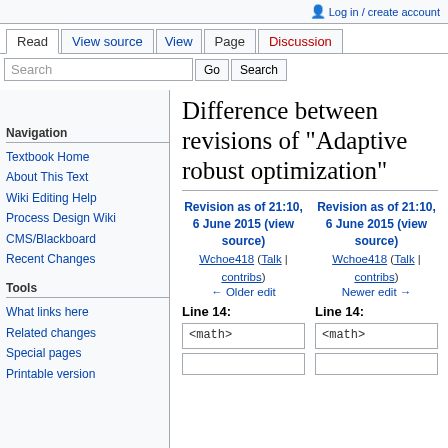Log in / create account
Read | View source | View | Page | Discussion
Difference between revisions of "Adaptive robust optimization"
Revision as of 21:10, 6 June 2015 (view source)
Wchoe418 (Talk | contribs)
← Older edit
Revision as of 21:10, 6 June 2015 (view source)
Wchoe418 (Talk | contribs)
Newer edit →
Line 14:
Line 14:
<math>
<math>